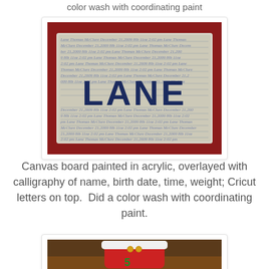color wash with coordinating paint
[Figure (photo): A canvas board painted in acrylic with repeating calligraphy text of name, birth date, time, weight as background. Large dark blue Cricut letters spelling LANE overlaid on top. Background is dark red/maroon.]
Canvas board painted in acrylic, overlayed with calligraphy of name, birth date, time, weight; Cricut letters on top.  Did a color wash with coordinating paint.
[Figure (photo): A red Christmas stocking with white fur trim at the top, gold jingle bells, and a green number 5 visible on the stocking front, resting on a wooden surface.]